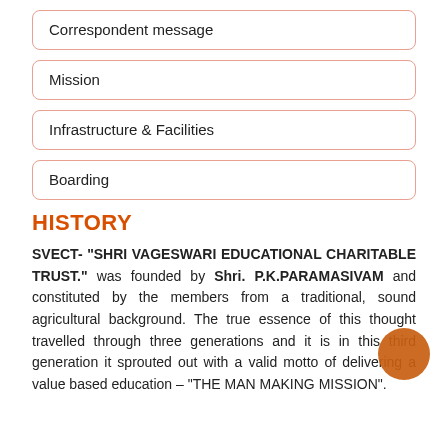Correspondent message
Mission
Infrastructure & Facilities
Boarding
HISTORY
SVECT- "SHRI VAGESWARI EDUCATIONAL CHARITABLE TRUST." was founded by Shri. P.K.PARAMASIVAM and constituted by the members from a traditional, sound agricultural background. The true essence of this thought travelled through three generations and it is in this third generation it sprouted out with a valid motto of delivering a value based education – "THE MAN MAKING MISSION".